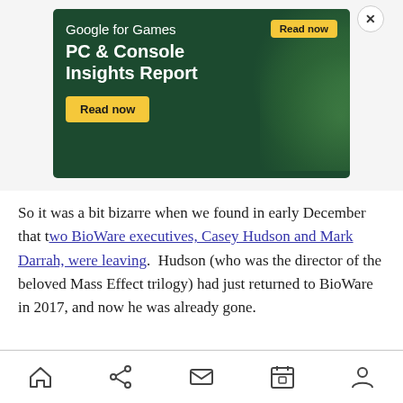[Figure (screenshot): Google for Games advertisement banner showing 'PC & Console Insights Report' with yellow 'Read now' buttons on a dark green background with decorative leaves, and a close (X) button]
So it was a bit bizarre when we found in early December that two BioWare executives, Casey Hudson and Mark Darrah, were leaving.  Hudson (who was the director of the beloved Mass Effect trilogy) had just returned to BioWare in 2017, and now he was already gone.
[Figure (infographic): Mobile browser bottom navigation bar with home, share, mail, calendar, and profile icons]